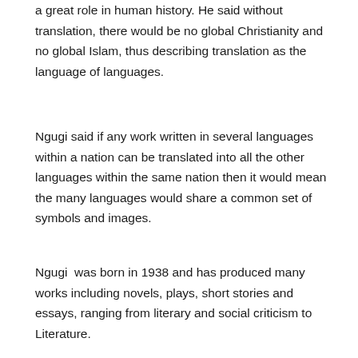a great role in human history. He said without translation, there would be no global Christianity and no global Islam, thus describing translation as the language of languages.
Ngugi said if any work written in several languages within a nation can be translated into all the other languages within the same nation then it would mean the many languages would share a common set of symbols and images.
Ngugi  was born in 1938 and has produced many works including novels, plays, short stories and essays, ranging from literary and social criticism to Literature.